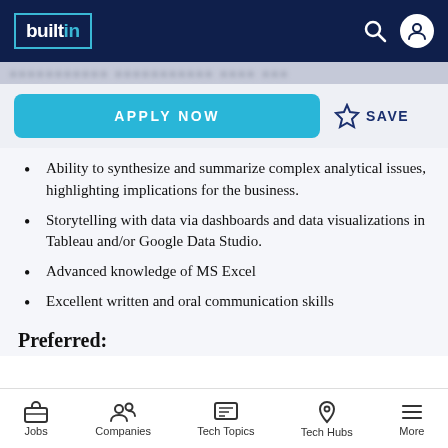builtin
[blurred header text]
APPLY NOW  ☆ SAVE
Ability to synthesize and summarize complex analytical issues, highlighting implications for the business.
Storytelling with data via dashboards and data visualizations in Tableau and/or Google Data Studio.
Advanced knowledge of MS Excel
Excellent written and oral communication skills
Preferred:
Jobs  Companies  Tech Topics  Tech Hubs  More